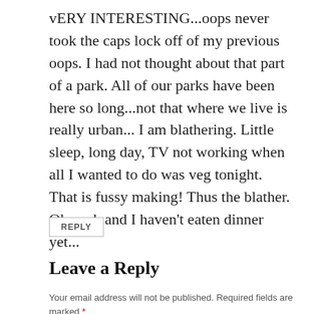vERY INTERESTING...oops never took the caps lock off of my previous oops. I had not thought about that part of a park. All of our parks have been here so long...not that where we live is really urban... I am blathering. Little sleep, long day, TV not working when all I wanted to do was veg tonight. That is fussy making! Thus the blather. Oh yeah and I haven't eaten dinner yet...
REPLY
Leave a Reply
Your email address will not be published. Required fields are marked *
COMMENT *